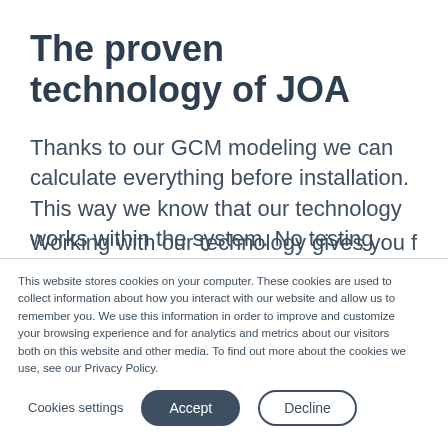The proven technology of JOA
Thanks to our GCM modeling we can calculate everything before installation. This way we know that our technology works within the system. No testing required. It will save your factory downtime and costs.
This website stores cookies on your computer. These cookies are used to collect information about how you interact with our website and allow us to remember you. We use this information in order to improve and customize your browsing experience and for analytics and metrics about our visitors both on this website and other media. To find out more about the cookies we use, see our Privacy Policy.
Cookies settings  Accept  Decline